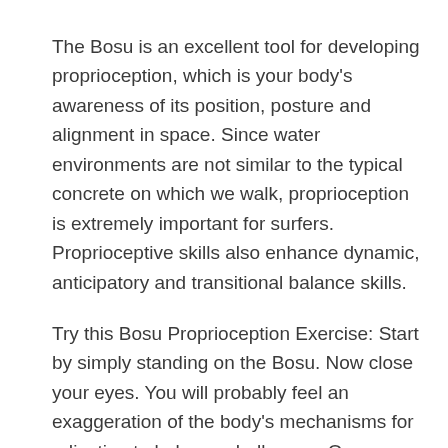The Bosu is an excellent tool for developing proprioception, which is your body's awareness of its position, posture and alignment in space. Since water environments are not similar to the typical concrete on which we walk, proprioception is extremely important for surfers. Proprioceptive skills also enhance dynamic, anticipatory and transitional balance skills.
Try this Bosu Proprioception Exercise: Start by simply standing on the Bosu. Now close your eyes. You will probably feel an exaggeration of the body's mechanisms for adjusting to balance challenges. Open your eyes and raise one arm. Follow it with your eyes. Keep following your hand as you bring it down, to the left and right, and back behind you. Repeat this using your opposite arm.